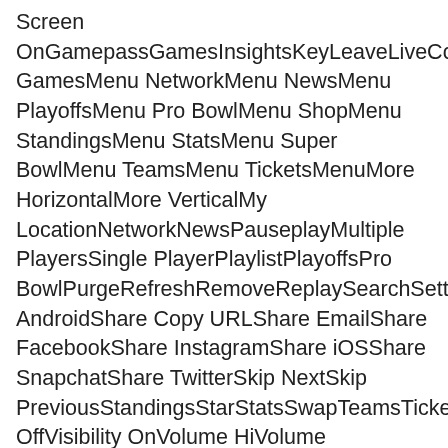Screen OnGamepassGamesInsightsKeyLeaveLiveCombineDraftFantasyMenu GamesMenu NetworkMenu NewsMenu PlayoffsMenu Pro BowlMenu ShopMenu StandingsMenu StatsMenu Super BowlMenu TeamsMenu TicketsMenuMore HorizontalMore VerticalMy LocationNetworkNewsPauseplayMultiple PlayersSingle PlayerPlaylistPlayoffsPro BowlPurgeRefreshRemoveReplaySearchSettingsShare AndroidShare Copy URLShare EmailShare FacebookShare InstagramShare iOSShare SnapchatShare TwitterSkip NextSkip PreviousStandingsStarStatsSwapTeamsTicketsVideoVisibility OffVisibility OnVolume HiVolume LowVolume MediumVolume MuteWarningWebsite Caret downCaret upAt.
make your own jersey CB Clemson Atlanta Falcons 17. • ESPN will produce, a nine-episode series scheduled to air in 2021 that will focus on Brady's first-hand account